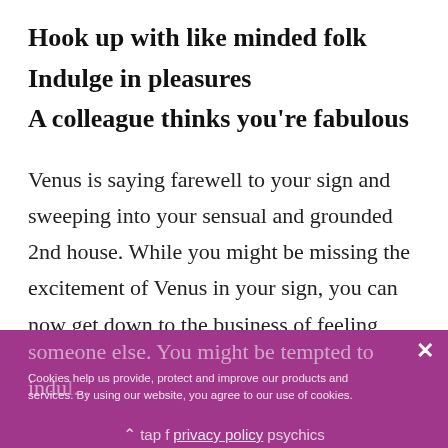Hook up with like minded folk
Indulge in pleasures
A colleague thinks you're fabulous
Venus is saying farewell to your sign and sweeping into your sensual and grounded 2nd house. While you might be missing the excitement of Venus in your sign, you can now get down to the business of feeling secure and making a commitment to yourself or, perhaps, to someone else. You might be tempted to indulge...
Cookies help us provide, protect and improve our products and services. By using our website, you agree to our use of cookies privacy policy psychics